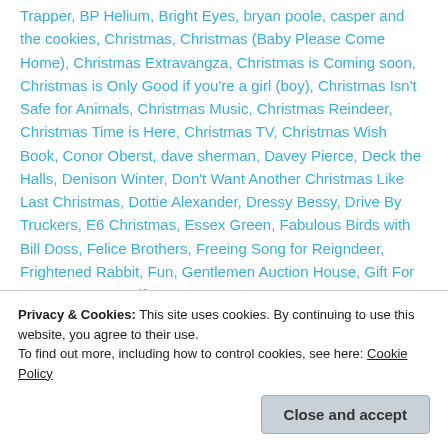Trapper, BP Helium, Bright Eyes, bryan poole, casper and the cookies, Christmas, Christmas (Baby Please Come Home), Christmas Extravangza, Christmas is Coming soon, Christmas is Only Good if you're a girl (boy), Christmas Isn't Safe for Animals, Christmas Music, Christmas Reindeer, Christmas Time is Here, Christmas TV, Christmas Wish Book, Conor Oberst, dave sherman, Davey Pierce, Deck the Halls, Denison Winter, Don't Want Another Christmas Like Last Christmas, Dottie Alexander, Dressy Bessy, Drive By Truckers, E6 Christmas, Essex Green, Fabulous Birds with Bill Doss, Felice Brothers, Freeing Song for Reigndeer, Frightened Rabbit, Fun, Gentlemen Auction House, Gift For You, Have Yourself a Merry
Privacy & Cookies: This site uses cookies. By continuing to use this website, you agree to their use.
To find out more, including how to control cookies, see here: Cookie Policy
Christmas Tree, Ladybug Transistor, Long Winters,